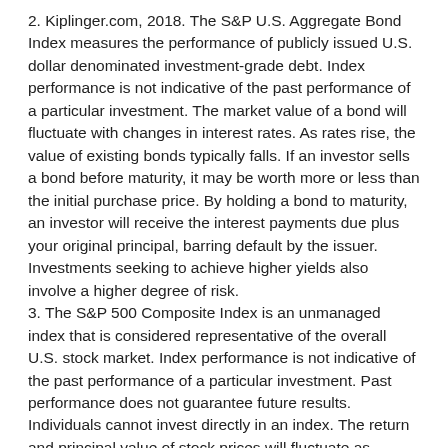2. Kiplinger.com, 2018. The S&P U.S. Aggregate Bond Index measures the performance of publicly issued U.S. dollar denominated investment-grade debt. Index performance is not indicative of the past performance of a particular investment. The market value of a bond will fluctuate with changes in interest rates. As rates rise, the value of existing bonds typically falls. If an investor sells a bond before maturity, it may be worth more or less than the initial purchase price. By holding a bond to maturity, an investor will receive the interest payments due plus your original principal, barring default by the issuer. Investments seeking to achieve higher yields also involve a higher degree of risk.
3. The S&P 500 Composite Index is an unmanaged index that is considered representative of the overall U.S. stock market. Index performance is not indicative of the past performance of a particular investment. Past performance does not guarantee future results. Individuals cannot invest directly in an index. The return and principal value of stock prices will fluctuate as market conditions change. And shares, when sold, may be worth more or less than their original cost.
The content is developed from sources believed to be providing accurate information. The information in this material